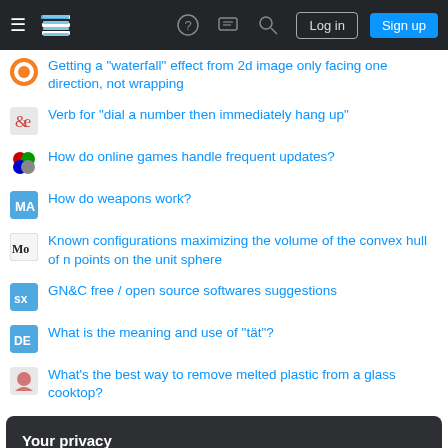[Figure (screenshot): Stack Exchange navigation bar with hamburger menu, logo, icons, Log in and Sign up buttons]
Getting a "waterfall" effect from 2d image only facing one direction, not wrapping
Verb for "dial a number then immediately hang up"
How do online games handle frequent updates?
How do weapons work?
Known configurations maximizing the volume of the convex hull of n points on the unit sphere
GN&C free / open source softwares suggestions
What is the meaning and use of "tät"?
What's the best way to remove melted plastic from a glass cooktop?
Your privacy
By clicking "Accept all cookies", you agree Stack Exchange can store cookies on your device and disclose information in accordance with our Cookie Policy.
Is it biologically plausible for a land animal to drink saltwater and not